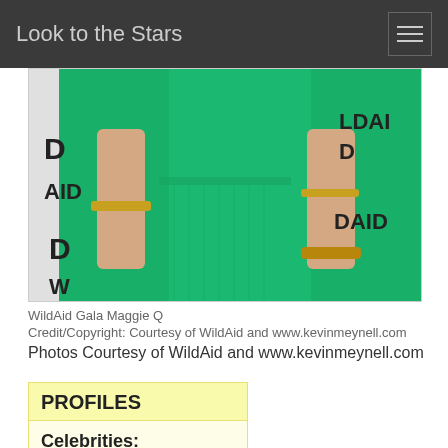Look to the Stars
[Figure (photo): Photo of Maggie Q at WildAid Gala, wearing a green dress with gold bracelets, standing in front of a WildAid branded backdrop]
WildAid Gala Maggie Q
Credit/Copyright: Courtesy of WildAid and www.kevinmeynell.com
Photos Courtesy of WildAid and www.kevinmeynell.com
PROFILES
Celebrities: